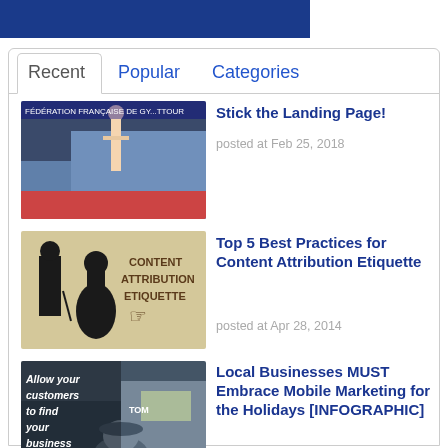[Figure (other): Blue header bar at top of page]
Recent | Popular | Categories (tab navigation)
[Figure (photo): Gymnast performing at a competition, crowd in background, FEDERATION FRANCAISE DE GYMNASTIQUE text visible]
Stick the Landing Page!
posted at Feb 25, 2018
[Figure (illustration): Victorian silhouette illustration with text CONTENT ATTRIBUTION ETIQUETTE and a pointing hand]
Top 5 Best Practices for Content Attribution Etiquette
posted at Apr 28, 2014
[Figure (photo): Street scene with people on mobile phones, text overlay: Allow your customers to find your business on mobile.]
Local Businesses MUST Embrace Mobile Marketing for the Holidays [INFOGRAPHIC]
posted at Oct 28, 2013